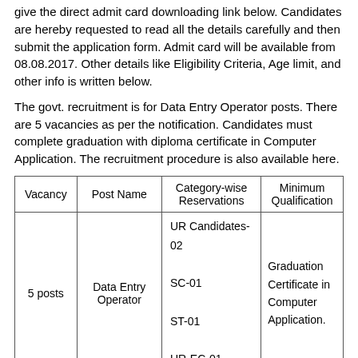give the direct admit card downloading link below. Candidates are hereby requested to read all the details carefully and then submit the application form. Admit card will be available from 08.08.2017. Other details like Eligibility Criteria, Age limit, and other info is written below.
The govt. recruitment is for Data Entry Operator posts. There are 5 vacancies as per the notification. Candidates must complete graduation with diploma certificate in Computer Application. The recruitment procedure is also available here.
| Vacancy | Post Name | Category-wise Reservations | Minimum Qualification |
| --- | --- | --- | --- |
| 5 posts | Data Entry Operator | UR Candidates-02
SC-01
ST-01
UR-EC-01 | Graduation Certificate in Computer Application. |
Eligibility Criteria for Data Entry Operator Recruitment